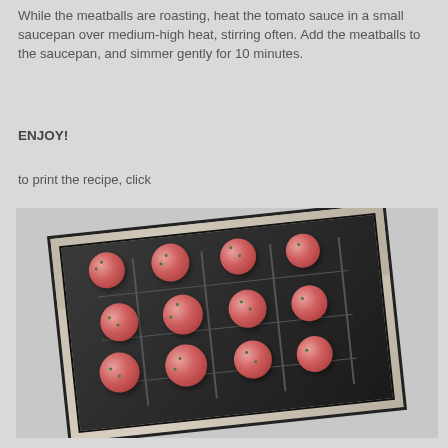While the meatballs are roasting, heat the tomato sauce in a small saucepan over medium-high heat, stirring often. Add the meatballs to the saucepan, and simmer gently for 10 minutes.
ENJOY!
to print the recipe, click
[Figure (photo): A photo of raw meatballs arranged on a wire rack inside a dark roasting pan, tilted at an angle, on a granite countertop background.]